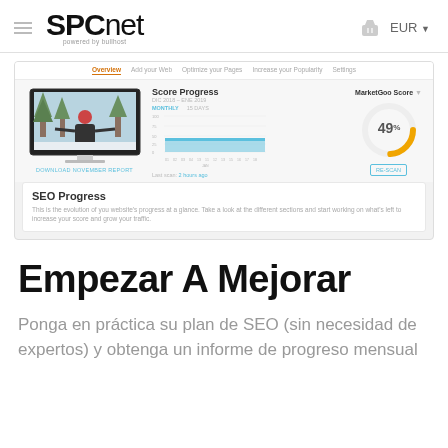SPCnet powered by bullhost — EUR
[Figure (screenshot): Screenshot of SPCnet/MarketGoo SEO dashboard showing Score Progress chart, a MarketGoo Score donut at 49%, and an SEO Progress section with monitor mockup and DOWNLOAD NOVEMBER REPORT link.]
Empezar A Mejorar
Ponga en práctica su plan de SEO (sin necesidad de expertos) y obtenga un informe de progreso mensual